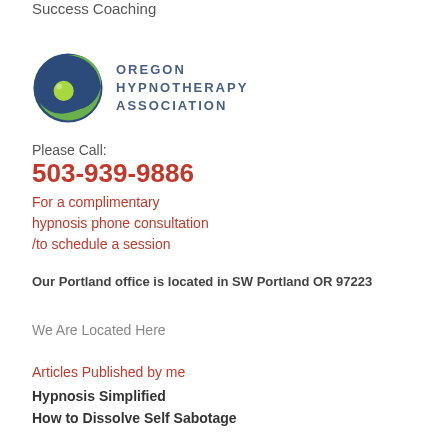Success Coaching
[Figure (logo): Oregon Hypnotherapy Association logo — circular green and dark blue swirl design with green circle at center, beside the text OREGON HYPNOTHERAPY ASSOCIATION in blue-grey uppercase letters]
Please Call:
503-939-9886
For a complimentary hypnosis phone consultation /to schedule a session
Our Portland office is located in SW Portland OR 97223
We Are Located Here
Articles Published by me
Hypnosis Simplified
How to Dissolve Self Sabotage